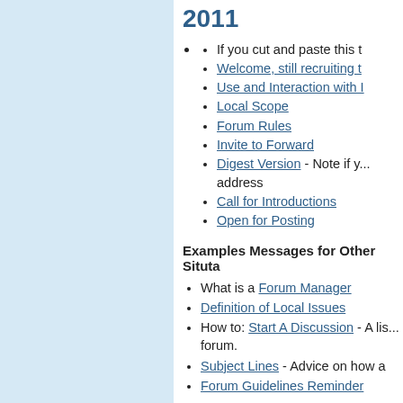2011
If you cut and paste this t
Welcome, still recruiting t
Use and Interaction with I
Local Scope
Forum Rules
Invite to Forward
Digest Version - Note if y... address
Call for Introductions
Open for Posting
Examples Messages for Other Situta
What is a Forum Manager
Definition of Local Issues
How to: Start A Discussion - A lis... forum.
Subject Lines - Advice on how a
Forum Guidelines Reminder